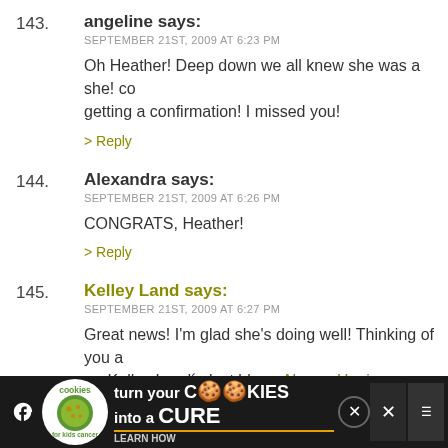143. angeline says: SEPTEMBER 21ST, 2009 AT 6:23 PM — Oh Heather! Deep down we all knew she was a she! co... getting a confirmation! I missed you!
144. Alexandra says: SEPTEMBER 21ST, 2009 AT 6:26 PM — CONGRATS, Heather!
145. Kelley Land says: SEPTEMBER 21ST, 2009 AT 6:27 PM — Great news! I'm glad she's doing well! Thinking of you a... .-= Kelley Land's last blog ..Always Hoping =-.
146. Sarah M. says:
[Figure (screenshot): Advertisement banner for 'cookies for kids cancer' — turn your COOKIES into a CURE LEARN HOW]